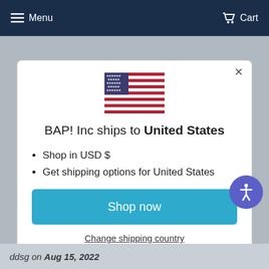Menu   Cart
[Figure (illustration): US flag SVG illustration]
BAP! Inc ships to United States
Shop in USD $
Get shipping options for United States
Shop now
Change shipping country
ddsg on Aug 15, 2022